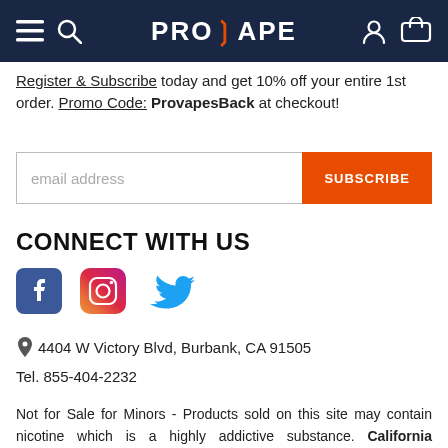PROVAPE navigation bar
Register & Subscribe today and get 10% off your entire 1st order. Promo Code: ProvapesBack at checkout!
[Figure (screenshot): Email subscription input field with SUBSCRIBE button]
CONNECT WITH US
[Figure (infographic): Social media icons: Facebook, Instagram, Twitter]
4404 W Victory Blvd, Burbank, CA 91505
Tel. 855-404-2232
Not for Sale for Minors - Products sold on this site may contain nicotine which is a highly addictive substance. California Proposition 65 - ⚠ WARNING: This product